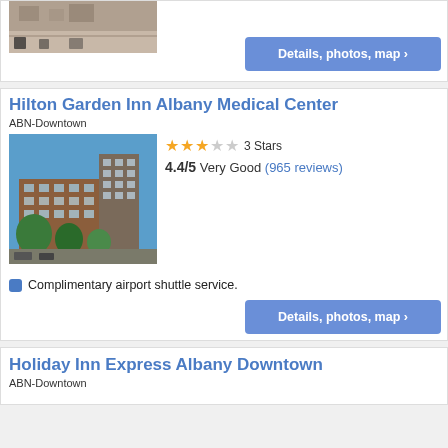[Figure (photo): Partial hotel lobby floor photo at top of page (cropped)]
Details, photos, map ›
Hilton Garden Inn Albany Medical Center
ABN-Downtown
[Figure (photo): Photo of Hilton Garden Inn Albany Medical Center exterior building]
3 Stars
4.4/5 Very Good (965 reviews)
Complimentary airport shuttle service.
Details, photos, map ›
Holiday Inn Express Albany Downtown
ABN-Downtown